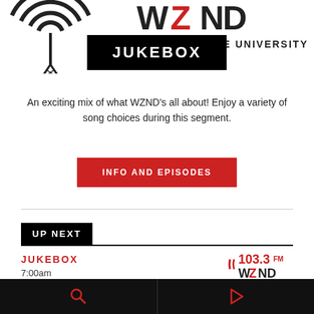[Figure (logo): WZND 103.3 FM Illinois State University radio station logo with radio tower and signal waves, in black and red]
JUKEBOX
An exciting mix of what WZND's all about! Enjoy a variety of song choices during this segment.
INFO AND EPISODES
UP NEXT
JUKEBOX
7:00am
[Figure (logo): 103.3 FM WZND Illinois State University radio logo in red and black]